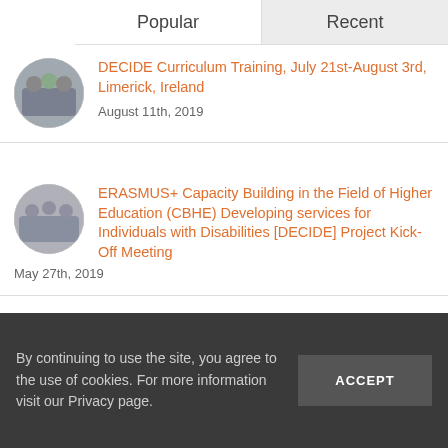Popular | Recent
[Figure (photo): Circular avatar photo of a group of people outdoors]
DECIDE Curriculum Training, July 21st-August 3rd, Limerick, Ireland
August 11th, 2019
[Figure (photo): Circular avatar photo of a group of people indoors]
ERASMUS+ Capacity Building in the Field of Higher Education (CBHE) Developing services for Individuals with Disabilities [DECIDE] Project Kick-Off Meeting
May 27th, 2019
[Figure (photo): Circular avatar photo partially visible]
DECIDE PMC Meeting
By continuing to use the site, you agree to the use of cookies. For more information visit our Privacy page.
ACCEPT